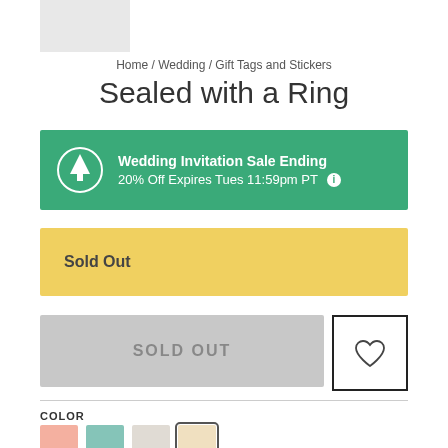[Figure (screenshot): Top partial product image placeholder, light gray box]
Home / Wedding / Gift Tags and Stickers
Sealed with a Ring
Wedding Invitation Sale Ending
20% Off Expires Tues 11:59pm PT
Sold Out
SOLD OUT
COLOR
[Figure (illustration): Four color swatches: pink, teal, cream, peach (selected)]
FORMAT